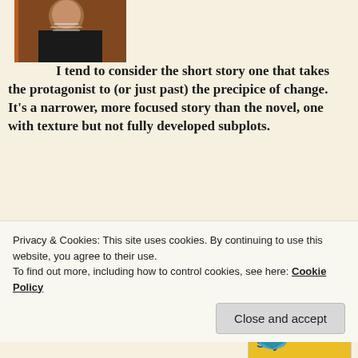[Figure (photo): Author photo showing a person wearing necklaces against an orange background]
I tend to consider the short story one that takes the protagonist to (or just past) the precipice of change. It's a narrower, more focused story than the novel, one with texture but not fully developed subplots.
How common is it for a young adult author to write short stories?
Quite common. I'm perhaps on the more prolific end. I've published seven YA short
[Figure (illustration): Book cover for 'Things I'll Never Say' showing illustrated face with text in colorful lettering and a blue bird]
anthologies. My most recent are  Cupid's Beaux
Privacy & Cookies: This site uses cookies. By continuing to use this website, you agree to their use.
To find out more, including how to control cookies, see here: Cookie Policy
Close and accept